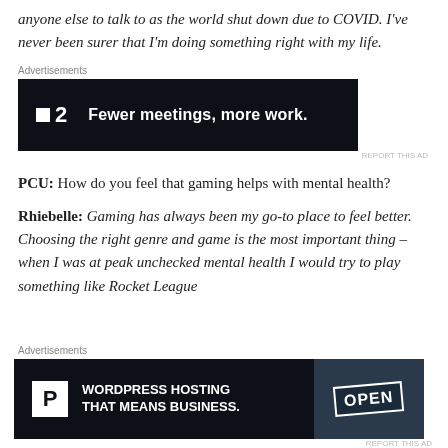anyone else to talk to as the world shut down due to COVID. I've never been surer that I'm doing something right with my life.
[Figure (screenshot): Advertisement banner: dark background with P2 logo and text 'Fewer meetings, more work.']
PCU: How do you feel that gaming helps with mental health?
Rhiebelle: Gaming has always been my go-to place to feel better. Choosing the right genre and game is the most important thing – when I was at peak unchecked mental health I would try to play something like Rocket League
[Figure (screenshot): Advertisement banner: WordPress Hosting That Means Business, with an OPEN sign image on the right.]